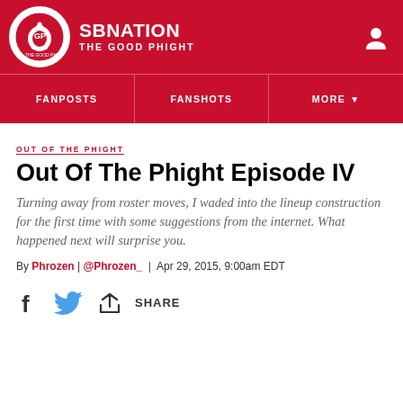SB NATION — THE GOOD PHIGHT
OUT OF THE PHIGHT
Out Of The Phight Episode IV
Turning away from roster moves, I waded into the lineup construction for the first time with some suggestions from the internet. What happened next will surprise you.
By Phrozen | @Phrozen_ | Apr 29, 2015, 9:00am EDT